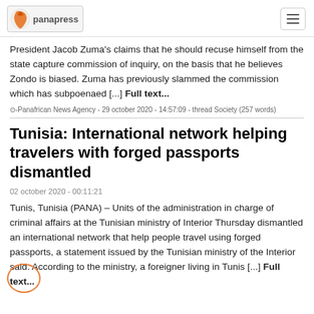panapress
President Jacob Zuma's claims that he should recuse himself from the state capture commission of inquiry, on the basis that he believes Zondo is biased. Zuma has previously slammed the commission which has subpoenaed [...] Full text...
⊙-Panafrican News Agency - 29 october 2020 - 14:57:09 - thread Society (257 words)
Tunisia: International network helping travelers with forged passports dismantled
02 october 2020 - 00:11:21
Tunis, Tunisia (PANA) – Units of the administration in charge of criminal affairs at the Tunisian ministry of Interior Thursday dismantled an international network that help people travel using forged passports, a statement issued by the Tunisian ministry of the Interior said. According to the ministry, a foreigner living in Tunis [...] Full text...